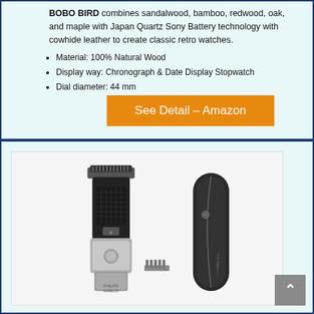BOBO BIRD combines sandalwood, bamboo, redwood, oak, and maple with Japan Quartz Sony Battery technology with cowhide leather to create classic retro watches.
Material: 100% Natural Wood
Display way: Chronograph & Date Display Stopwatch
Dial diameter: 44 mm
[Figure (other): Orange button labeled 'See Detail – Amazon']
[Figure (photo): Product photo of a Philips Norelco electric trimmer/shaver shown with a comb attachment and a black zippered carrying case]